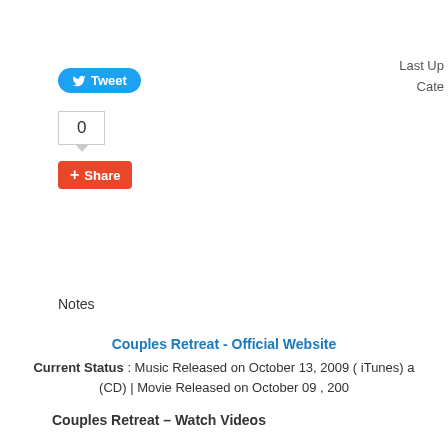Last Up... Cate...
[Figure (screenshot): Twitter Tweet button (blue rounded pill with bird icon and 'Tweet' text)]
[Figure (screenshot): Share count box showing '0' with speech-bubble tail below]
[Figure (screenshot): Google+1 Share button (red/orange rounded rectangle with plus icon and 'Share' text)]
Notes
Couples Retreat - Official Website
Current Status : Music Released on October 13, 2009 ( iTunes) a... (CD) | Movie Released on October 09 , 200...
Couples Retreat – Watch Videos